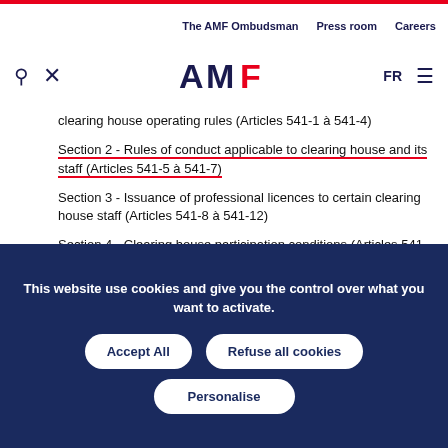The AMF Ombudsman  Press room  Careers
[Figure (logo): AMF logo with search and close icons, FR language toggle and hamburger menu]
clearing house operating rules (Articles 541-1 à 541-4)
Section 2 - Rules of conduct applicable to clearing house and its staff (Articles 541-5 à 541-7)
Section 3 - Issuance of professional licences to certain clearing house staff (Articles 541-8 à 541-12)
Section 4 - Clearing house participation conditions (Articles 541-13 à 541-22)
This website use cookies and give you the control over what you want to activate.
Accept All  Refuse all cookies  Personalise